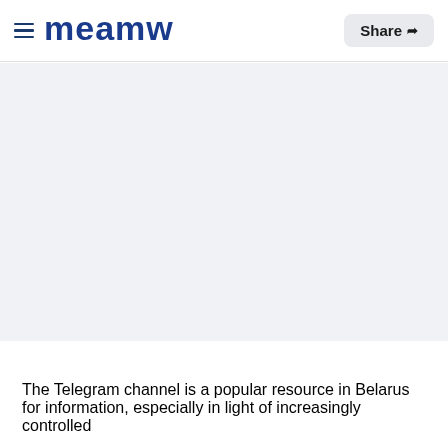≡ meamw  Share ↗
[Figure (photo): Large light gray placeholder image area below the navigation header]
The Telegram channel is a popular resource in Belarus for information, especially in light of increasingly controlled